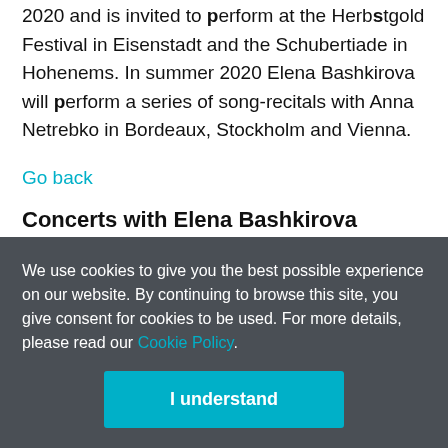2020 and is invited to perform at the Herbstgold Festival in Eisenstadt and the Schubertiade in Hohenems. In summer 2020 Elena Bashkirova will perform a series of song-recitals with Anna Netrebko in Bordeaux, Stockholm and Vienna.
Go back
Concerts with Elena Bashkirova
February 20th, 2021
We use cookies to give you the best possible experience on our website. By continuing to browse this site, you give consent for cookies to be used. For more details, please read our Cookie Policy.
I understand